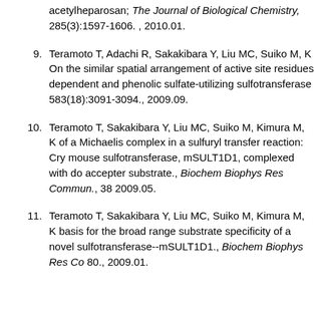acetylheparosan; The Journal of Biological Chemistry, 285(3):1597-1606. , 2010.01.
9. Teramoto T, Adachi R, Sakakibara Y, Liu MC, Suiko M, K... On the similar spatial arrangement of active site residues... dependent and phenolic sulfate-utilizing sulfotransferase... 583(18):3091-3094., 2009.09.
10. Teramoto T, Sakakibara Y, Liu MC, Suiko M, Kimura M, K... of a Michaelis complex in a sulfuryl transfer reaction: Cry... mouse sulfotransferase, mSULT1D1, complexed with do... accepter substrate., Biochem Biophys Res Commun., 38... 2009.05.
11. Teramoto T, Sakakibara Y, Liu MC, Suiko M, Kimura M, K... basis for the broad range substrate specificity of a novel... sulfotransferase--mSULT1D1., Biochem Biophys Res Co... 80., 2009.01.